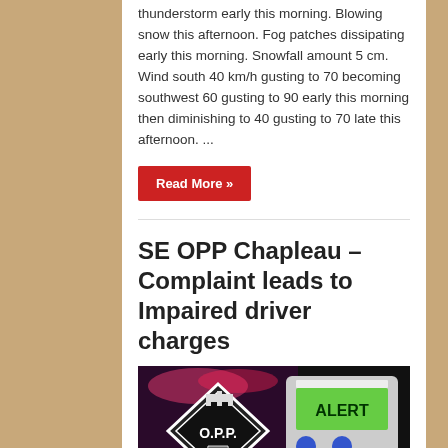thunderstorm early this morning. Blowing snow this afternoon. Fog patches dissipating early this morning. Snowfall amount 5 cm. Wind south 40 km/h gusting to 70 becoming southwest 60 gusting to 90 early this morning then diminishing to 40 gusting to 70 late this afternoon. ...
Read More »
SE OPP Chapleau – Complaint leads to Impaired driver charges
[Figure (photo): Photo showing an OPP (Ontario Provincial Police) badge/logo on a police car alongside a breathalyzer device displaying 'ALERT' on its screen with an OK button.]